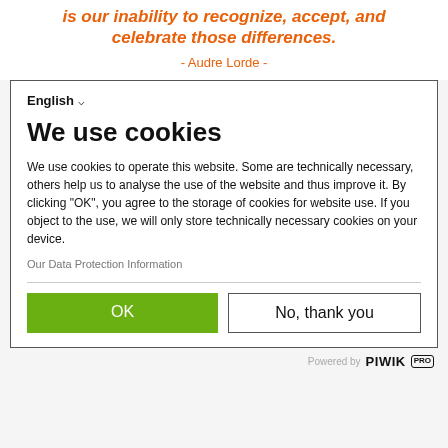is our inability to recognize, accept, and celebrate those differences.
- Audre Lorde -
English ▾
We use cookies
We use cookies to operate this website. Some are technically necessary, others help us to analyse the use of the website and thus improve it. By clicking "OK", you agree to the storage of cookies for website use. If you object to the use, we will only store technically necessary cookies on your device.
Our Data Protection Information
OK
No, thank you
Powered by PIWIK PRO